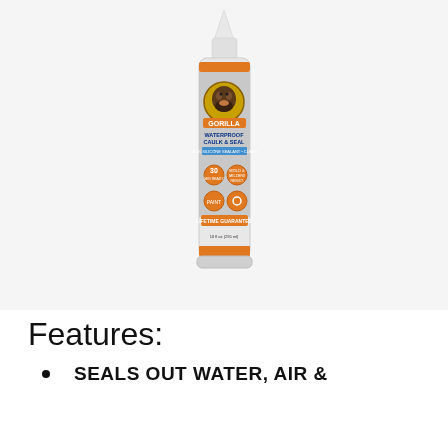[Figure (photo): A tube/cartridge of Gorilla Waterproof Caulk & Seal, 100% Silicone Sealant, clear color, 10 fl oz (295 ml). The tube is white with an orange and gray label featuring the Gorilla brand logo (gorilla face), product icons showing 30-minute rain ready, mold & mildew resistant, paintable, and lifetime guarantee.]
Features:
SEALS OUT WATER, AIR &